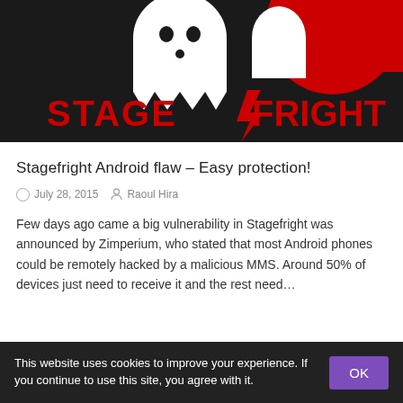[Figure (logo): Stagefright logo: black background with white ghost/robot figure and red text 'STAGEFRIGHT' with a stylized 'F' as a lightning bolt]
Stagefright Android flaw – Easy protection!
July 28, 2015  Raoul Hira
Few days ago came a big vulnerability in Stagefright was announced by Zimperium, who stated that most Android phones could be remotely hacked by a malicious MMS. Around 50% of devices just need to receive it and the rest need…
This website uses cookies to improve your experience. If you continue to use this site, you agree with it.